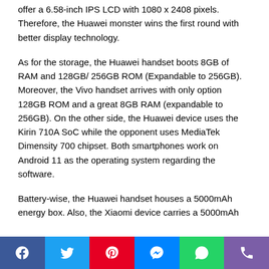offer a 6.58-inch IPS LCD with 1080 x 2408 pixels. Therefore, the Huawei monster wins the first round with better display technology.
As for the storage, the Huawei handset boots 8GB of RAM and 128GB/ 256GB ROM (Expandable to 256GB). Moreover, the Vivo handset arrives with only option 128GB ROM and a great 8GB RAM (expandable to 256GB). On the other side, the Huawei device uses the Kirin 710A SoC while the opponent uses MediaTek Dimensity 700 chipset. Both smartphones work on Android 11 as the operating system regarding the software.
Battery-wise, the Huawei handset houses a 5000mAh energy box. Also, the Xiaomi device carries a 5000mAh
[Figure (other): Social sharing bar with Facebook, Twitter, Pinterest, Messenger, WhatsApp, and Phone icons]